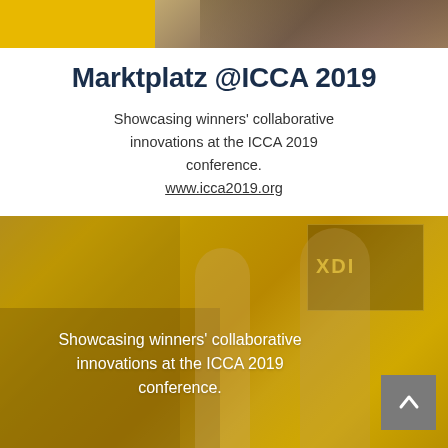[Figure (photo): Top strip photo showing people at a conference event with yellow bar on left side]
Marktplatz @ICCA 2019
Showcasing winners' collaborative innovations at the ICCA 2019 conference.
www.icca2019.org
[Figure (photo): Large image with yellow/golden overlay showing people at a conference booth or marketplace. Text overlay reads: Showcasing winners' collaborative innovations at the ICCA 2019 conference. A scroll-to-top button is visible in the bottom right corner.]